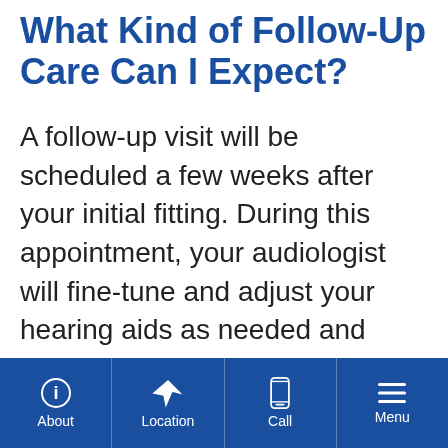What Kind of Follow-Up Care Can I Expect?
A follow-up visit will be scheduled a few weeks after your initial fitting. During this appointment, your audiologist will fine-tune and adjust your hearing aids as needed and answer any questions you may have. It may take a while to adjust your hearing aids to their maximum effectiveness, so additional appointments for adjustments may be needed.
About | Location | Call | Menu